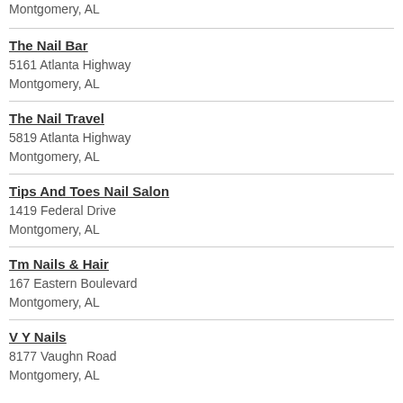Montgomery, AL
The Nail Bar
5161 Atlanta Highway
Montgomery, AL
The Nail Travel
5819 Atlanta Highway
Montgomery, AL
Tips And Toes Nail Salon
1419 Federal Drive
Montgomery, AL
Tm Nails & Hair
167 Eastern Boulevard
Montgomery, AL
V Y Nails
8177 Vaughn Road
Montgomery, AL